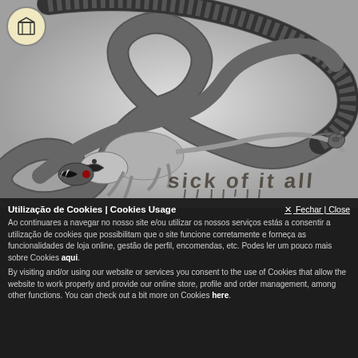[Figure (illustration): Black and white illustration of a snake coiled around and biting a lizard/dragon creature. A logo with a box icon in a circle is in the top left corner. Below the illustration, stylized text reading 'Sick of it All' is partially visible. A watermark 'Last Act of Defiance' appears faintly at the bottom of the image.]
Utilização de Cookies | Cookies Usage
✕ Fechar | Close
Ao continuares a navegar no nosso site e/ou utilizar os nossos serviços estás a consentir a utilização de cookies que possibilitam que o site funcione corretamente e forneça as funcionalidades de loja online, gestão de perfil, encomendas, etc. Podes ler um pouco mais sobre Cookies aqui.
By visiting and/or using our website or services you consent to the use of Cookies that allow the website to work properly and provide our online store, profile and order management, among other functions. You can check out a bit more on Cookies here.